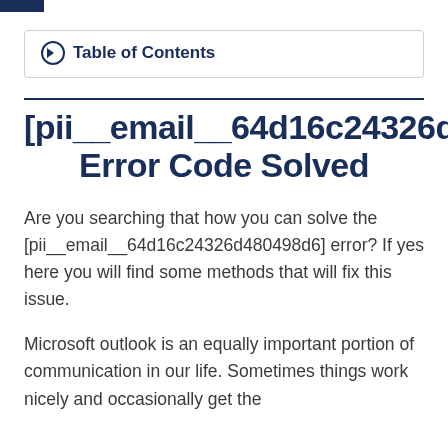Table of Contents
[pii_email_64d16c24326d480498d6] Error Code Solved
Are you searching that how you can solve the [pii__email__64d16c24326d480498d6] error? If yes here you will find some methods that will fix this issue.
Microsoft outlook is an equally important portion of communication in our life. Sometimes things work nicely and occasionally get the